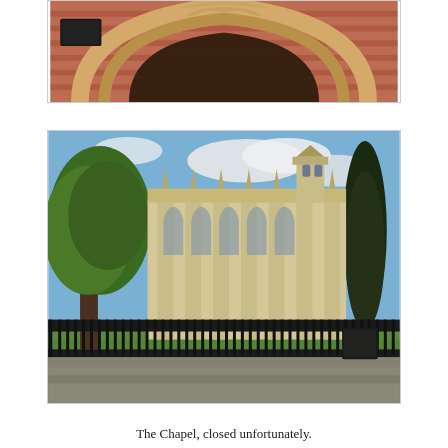[Figure (photo): Close-up of a Gothic arched entrance with ornate stonework, terracotta/red brick facade, and decorative carved stone tracery above a dark doorway]
[Figure (photo): Exterior view of a Gothic chapel with stone buttresses and pinnacles, viewed through iron railings and surrounded by large trees including a tall dark cypress on the right, blue sky with clouds above]
The Chapel, closed unfortunately.